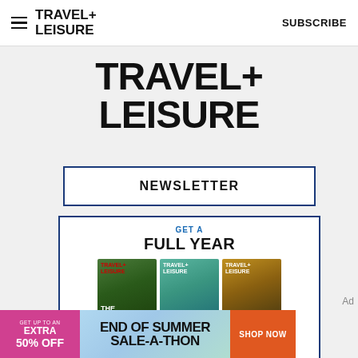TRAVEL+ LEISURE  SUBSCRIBE
TRAVEL+
LEISURE
NEWSLETTER
[Figure (illustration): Subscription card with three Travel+Leisure magazine covers and text: GET A FULL YEAR with a SUBSCRIBE NOW button]
[Figure (illustration): Ad banner: GET UP TO AN EXTRA 50% OFF | END OF SUMMER SALE-A-THON | SHOP NOW]